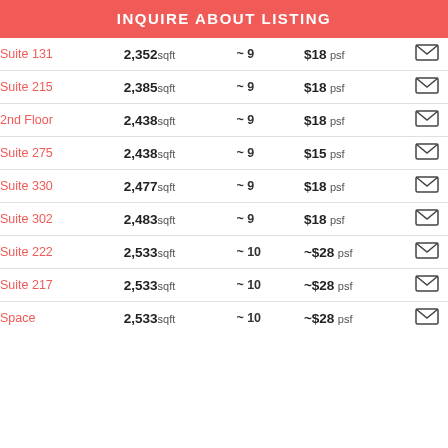INQUIRE ABOUT LISTING
| Suite | Size | ~ | Price |  |
| --- | --- | --- | --- | --- |
| Suite 131 | 2,352sqft | ~ 9 | $18 psf | envelope |
| Suite 215 | 2,385sqft | ~ 9 | $18 psf | envelope |
| 2nd Floor | 2,438sqft | ~ 9 | $18 psf | envelope |
| Suite 275 | 2,438sqft | ~ 9 | $15 psf | envelope |
| Suite 330 | 2,477sqft | ~ 9 | $18 psf | envelope |
| Suite 302 | 2,483sqft | ~ 9 | $18 psf | envelope |
| Suite 222 | 2,533sqft | ~ 10 | ~$28 psf | envelope |
| Suite 217 | 2,533sqft | ~ 10 | ~$28 psf | envelope |
| Space | 2,533sqft | ~ 10 | ~$28 psf | envelope |